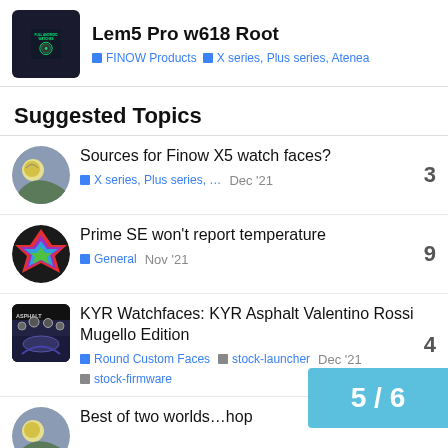Lem5 Pro w618 Root — FINOW Products · X series, Plus series, Atenea
Suggested Topics
Sources for Finow X5 watch faces? — X series, Plus series, … — Dec '21 — 3 replies
Prime SE won't report temperature — General — Nov '21 — 9 replies
KYR Watchfaces: KYR Asphalt Valentino Rossi Mugello Edition — Round Custom Faces · stock-launcher · stock-firmware — Dec '21 — 4 replies
Best of two worlds…hop…
5 / 6